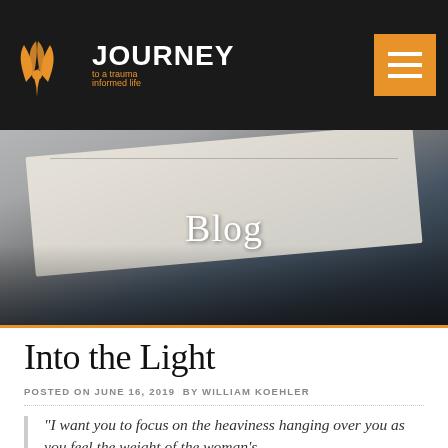[Figure (logo): Journey to a trauma informed life logo with orange phoenix/bird graphic and text]
[Figure (photo): Hero banner photo of person holding an open journal/notebook, dark overlay, with 'Blog' text centered]
Into the Light
POSTED ON JUNE 16, 2019  BY WILLIAM KOEHLER
“I want you to focus on the heaviness hanging over you as you feel the weight of the woman’s